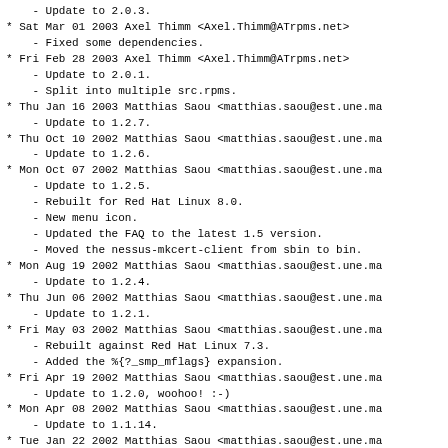- Update to 2.0.3.
* Sat Mar 01 2003 Axel Thimm <Axel.Thimm@ATrpms.net>
    - Fixed some dependencies.
* Fri Feb 28 2003 Axel Thimm <Axel.Thimm@ATrpms.net>
    - Update to 2.0.1.
    - Split into multiple src.rpms.
* Thu Jan 16 2003 Matthias Saou <matthias.saou@est.une.ma
    - Update to 1.2.7.
* Thu Oct 10 2002 Matthias Saou <matthias.saou@est.une.ma
    - Update to 1.2.6.
* Mon Oct 07 2002 Matthias Saou <matthias.saou@est.une.ma
    - Update to 1.2.5.
    - Rebuilt for Red Hat Linux 8.0.
    - New menu icon.
    - Updated the FAQ to the latest 1.5 version.
    - Moved the nessus-mkcert-client from sbin to bin.
* Mon Aug 19 2002 Matthias Saou <matthias.saou@est.une.ma
    - Update to 1.2.4.
* Thu Jun 06 2002 Matthias Saou <matthias.saou@est.une.ma
    - Update to 1.2.1.
* Fri May 03 2002 Matthias Saou <matthias.saou@est.une.ma
    - Rebuilt against Red Hat Linux 7.3.
    - Added the %{?_smp_mflags} expansion.
* Fri Apr 19 2002 Matthias Saou <matthias.saou@est.une.ma
    - Update to 1.2.0, woohoo! :-)
* Mon Apr 08 2002 Matthias Saou <matthias.saou@est.une.ma
    - Update to 1.1.14.
* Tue Jan 22 2002 Matthias Saou <matthias.saou@est.une.ma
    - Update to 1.1.12 at last.
* Tue Nov 06 2001 Matthias Saou <matthias.saou@est.une.ma